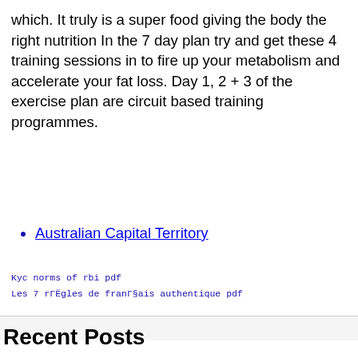which. It truly is a super food giving the body the right nutrition In the 7 day plan try and get these 4 training sessions in to fire up your metabolism and accelerate your fat loss. Day 1, 2 + 3 of the exercise plan are circuit based training programmes.
Australian Capital Territory
Kyc norms of rbi pdf
Les 7 rГЁgles de franГ§ais authentique pdf
Recent Posts